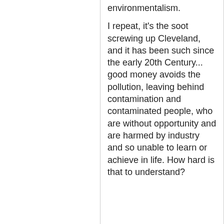environmentalism.
I repeat, it's the soot screwing up Cleveland, and it has been such since the early 20th Century... good money avoids the pollution, leaving behind contamination and contaminated people, who are without opportunity and are harmed by industry and so unable to learn or achieve in life. How hard is that to understand?